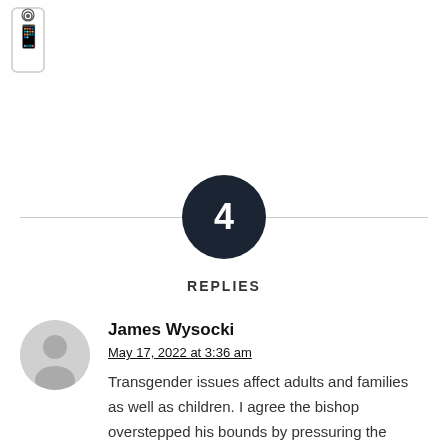[Figure (logo): WhatsApp icon/logo at top left]
4
REPLIES
James Wysocki
May 17, 2022 at 3:36 am
Transgender issues affect adults and families as well as children. I agree the bishop overstepped his bounds by pressuring the council to weaken the ban. This not a church moral issue or teaching and even if I were, entering